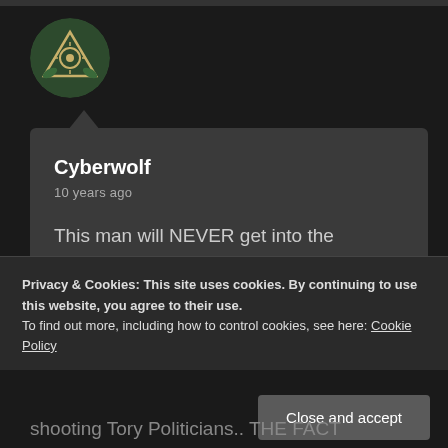[Figure (illustration): Circular avatar image with a dark green background showing a triangular All-Seeing Eye / Illuminati style symbol with a face/eye in the center]
Cyberwolf
10 years ago
This man will NEVER get into the
Privacy & Cookies: This site uses cookies. By continuing to use this website, you agree to their use.
To find out more, including how to control cookies, see here: Cookie Policy
Close and accept
shooting Tory Politicians.. THE FACT